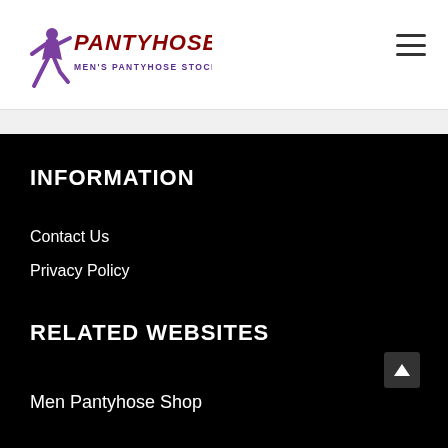[Figure (logo): Pantyhose Men's Pantyhose Stockings logo with a running figure silhouette in purple and red/maroon stylized text]
Pantyhose Men's Pantyhose Stockings - navigation header with hamburger menu
INFORMATION
Contact Us
Privacy Policy
RELATED WEBSITES
Men Pantyhose Shop